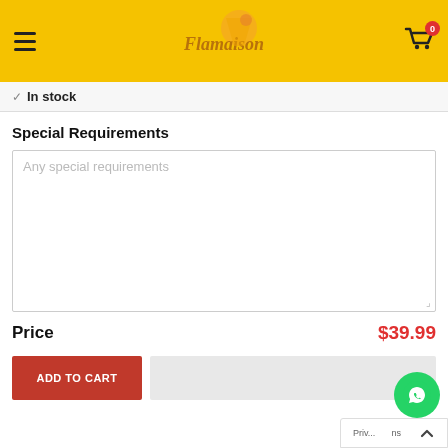Flamaison [logo] Cart: 0
✓ In stock
Special Requirements
Any special requirements
Price  $39.99
ADD TO CART